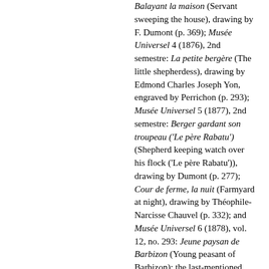Balayant la maison (Servant sweeping the house), drawing by F. Dumont (p. 369); Musée Universel 4 (1876), 2nd semestre: La petite bergère (The little shepherdess), drawing by Edmond Charles Joseph Yon, engraved by Perrichon (p. 293); Musée Universel 5 (1877), 2nd semestre: Berger gardant son troupeau ('Le père Rabatu') (Shepherd keeping watch over his flock ('Le père Rabatu')), drawing by Dumont (p. 277); Cour de ferme, la nuit (Farmyard at night), drawing by Théophile-Narcisse Chauvel (p. 332); and Musée Universel 6 (1878), vol. 12, no. 293: Jeune paysan de Barbizon (Young peasant of Barbizon); the last-mentioned traced only as a listing on the cover, hence the lack of a page reference. Le bûcheron was published in the series 'Galerie des peintres contemporaines'. The drawing is by Edmond Charles Joseph Yon; the engraver is George Léon Alfred Perrichon (Amsterdam, Van Gogh Museum, t*573). Ill. 271 . Cf. exhib. cat.